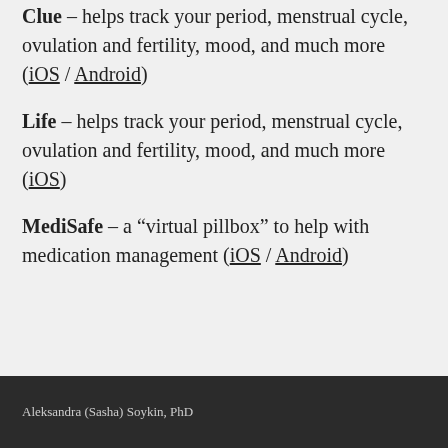Clue – helps track your period, menstrual cycle, ovulation and fertility, mood, and much more (iOS / Android)
Life – helps track your period, menstrual cycle, ovulation and fertility, mood, and much more (iOS)
MediSafe – a “virtual pillbox” to help with medication management (iOS / Android)
Aleksandra (Sasha) Soykin, PhD